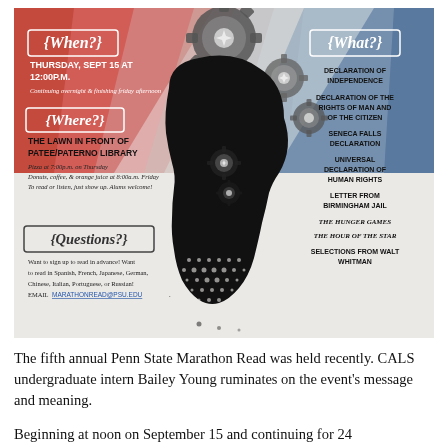[Figure (infographic): Penn State Marathon Read event infographic with a silhouette of a head with gears, on a red/blue ray background. Contains WHEN (Thursday Sept 15 at 12:00PM), WHERE (The Lawn in Front of Patee/Paterno Library), QUESTIONS (email marathonread@psu.edu), and WHAT sections listing: Declaration of Independence, Declaration of the Rights of Man and of the Citizen, Seneca Falls Declaration, Universal Declaration of Human Rights, Letter from Birmingham Jail, The Hunger Games, The Hour of the Star, Selections from Walt Whitman.]
The fifth annual Penn State Marathon Read was held recently. CALS undergraduate intern Bailey Young ruminates on the event's message and meaning.
Beginning at noon on September 15 and continuing for 24